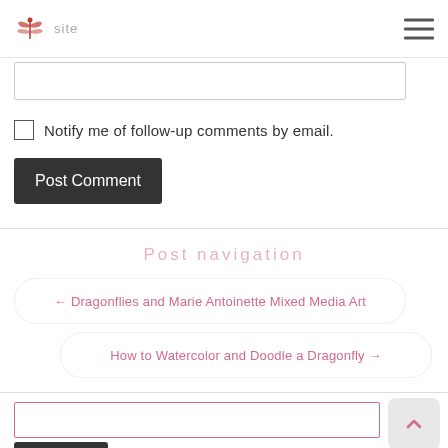Tombow site
Notify me of follow-up comments by email.
Post Comment
Post navigation
← Dragonflies and Marie Antoinette Mixed Media Art
How to Watercolor and Doodle a Dragonfly →
Search